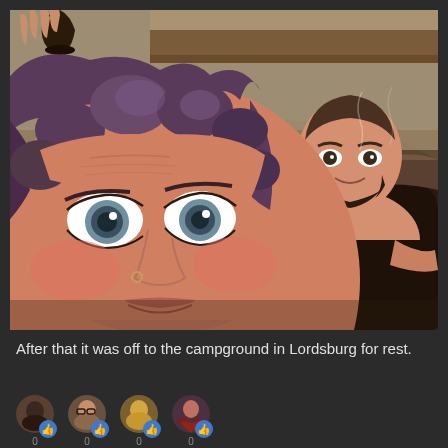[Figure (photo): Selfie photo of two people in a hot spring or hot tub outdoors. A woman with curly purple/brown hair is in the foreground taking the selfie, looking wide-eyed at the camera with flushed cheeks. A man with short hair and a beard is visible in the background, sitting in the dark water. Another person's hand is visible at the top left holding a cup. The setting appears to be an outdoor hot spring with rocks.]
After that it was off to the campground in Lordsburg for rest.
[Figure (illustration): Four small circular social media reaction/like icons shown in a row at the bottom of the post, each with a thumbs-up symbol beneath them.]